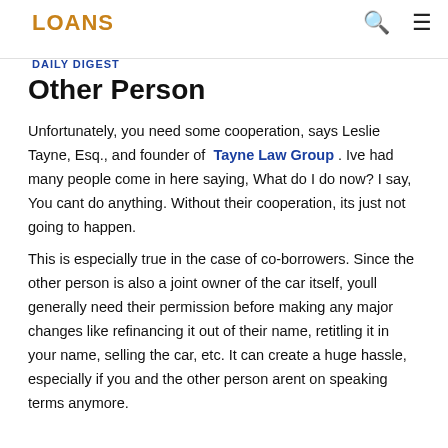LOANS
DAILY DIGEST
Other Person
Unfortunately, you need some cooperation, says Leslie Tayne, Esq., and founder of Tayne Law Group . Ive had many people come in here saying, What do I do now? I say, You cant do anything. Without their cooperation, its just not going to happen.
This is especially true in the case of co-borrowers. Since the other person is also a joint owner of the car itself, youll generally need their permission before making any major changes like refinancing it out of their name, retitling it in your name, selling the car, etc. It can create a huge hassle, especially if you and the other person arent on speaking terms anymore.